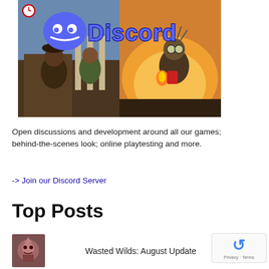[Figure (illustration): Discord server promotional banner showing fantasy game artwork split into two panels (pirates on left, spiky armored character on right) with Discord logo and 'Discord' text overlay in blue]
Open discussions and development around all our games; behind-the-scenes look; online playtesting and more.
-> Join our Discord Server
Top Posts
[Figure (photo): Small thumbnail image for Wasted Wilds post]
Wasted Wilds: August Update